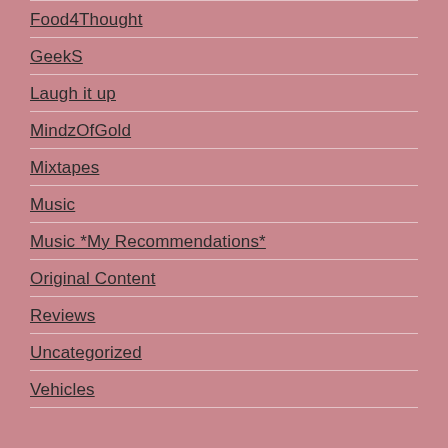Food4Thought
GeekS
Laugh it up
MindzOfGold
Mixtapes
Music
Music *My Recommendations*
Original Content
Reviews
Uncategorized
Vehicles